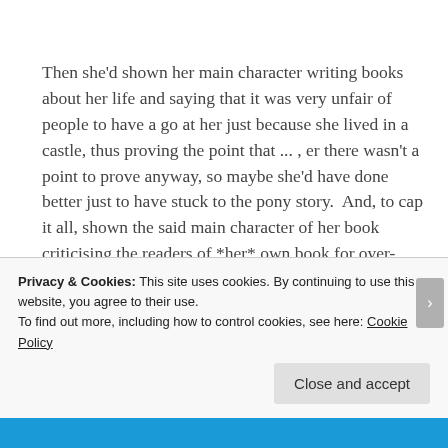Then she'd shown her main character writing books about her life and saying that it was very unfair of people to have a go at her just because she lived in a castle, thus proving the point that ... , er there wasn't a point to prove anyway, so maybe she'd have done better just to have stuck to the pony story.  And, to cap it all, shown the said main character of her book criticising the readers of *her* own book for over-analysing children's books.  It all just
Privacy & Cookies: This site uses cookies. By continuing to use this website, you agree to their use.
To find out more, including how to control cookies, see here: Cookie Policy
Close and accept